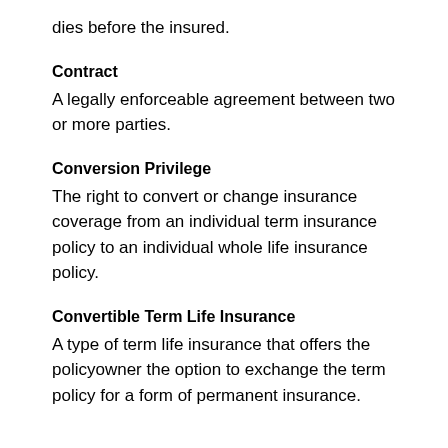dies before the insured.
Contract
A legally enforceable agreement between two or more parties.
Conversion Privilege
The right to convert or change insurance coverage from an individual term insurance policy to an individual whole life insurance policy.
Convertible Term Life Insurance
A type of term life insurance that offers the policyowner the option to exchange the term policy for a form of permanent insurance.